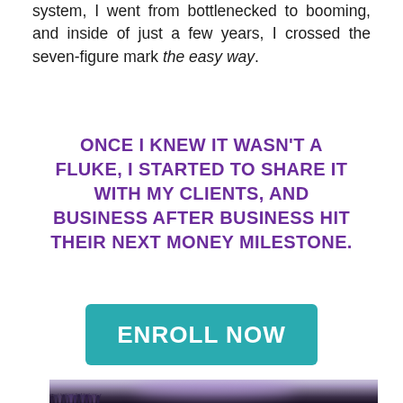system, I went from bottlenecked to booming, and inside of just a few years, I crossed the seven-figure mark the easy way.
ONCE I KNEW IT WASN'T A FLUKE, I STARTED TO SHARE IT WITH MY CLIENTS, AND BUSINESS AFTER BUSINESS HIT THEIR NEXT MONEY MILESTONE.
[Figure (other): Teal/green button with white bold uppercase text reading ENROLL NOW]
[Figure (photo): A large crowd of people at an event, arms raised, celebrating in a room with purple stage lighting overhead]